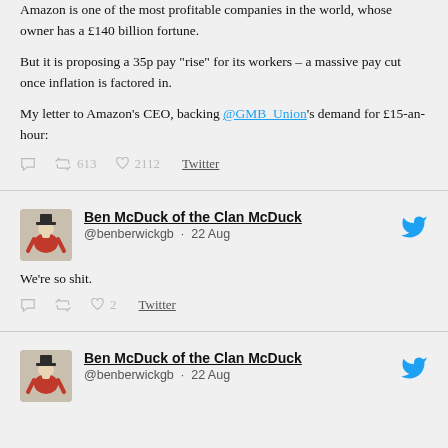Amazon is one of the most profitable companies in the world, whose owner has a £140 billion fortune.
But it is proposing a 35p pay "rise" for its workers – a massive pay cut once inflation is factored in.
My letter to Amazon's CEO, backing @GMB_Union's demand for £15-an-hour:
613  2112  Twitter
Ben McDuck of the Clan McDuck
@benberwickgb · 22 Aug
We're so shit.
2  Twitter
Ben McDuck of the Clan McDuck
@benberwickgb · 22 Aug